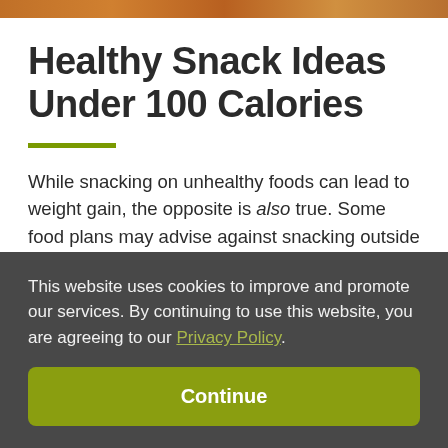[Figure (photo): Top strip showing food/snack image in warm orange-brown tones]
Healthy Snack Ideas Under 100 Calories
While snacking on unhealthy foods can lead to weight gain, the opposite is also true. Some food plans may advise against snacking outside of three balanced meals per day, however many of
This website uses cookies to improve and promote our services. By continuing to use this website, you are agreeing to our Privacy Policy.
Continue